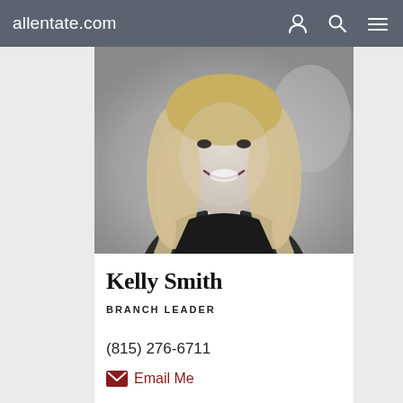allentate.com
[Figure (photo): Black and white professional headshot of Kelly Smith, a woman with long blonde hair wearing a dark top, smiling at the camera with a blurred background.]
Kelly Smith
BRANCH LEADER
(815) 276-6711
Email Me